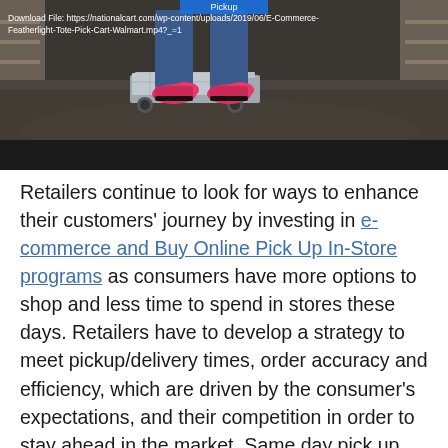[Figure (photo): Warehouse or store aisle scene showing a person's legs in jeans and bright pink/red sneakers walking alongside a low metal pick cart on wheels. The floor is a shiny concrete warehouse floor. Store shelving visible in the background. Dark gray bar at the bottom of the image. An overlay text at the top left reads: Download File: https://nationalcart.com/wp-content/uploads/2019/06/E-Commerce-Featherlight-Tote-Pick-Cart-Walmart.mp4?_=1]
Retailers continue to look for ways to enhance their customers' journey by investing in e-commerce and Buy Online Pick Up In-Store programs as consumers have more options to shop and less time to spend in stores these days. Retailers have to develop a strategy to meet pickup/delivery times, order accuracy and efficiency, which are driven by the consumer's expectations, and their competition in order to stay ahead in the market. Same day pick up and next day delivery are quickly becoming the industry norm.